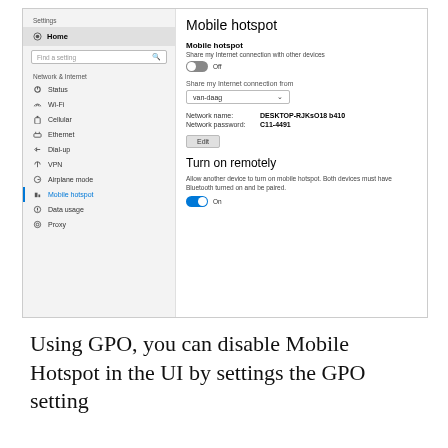[Figure (screenshot): Windows 10 Settings screenshot showing Mobile hotspot page with sidebar navigation (Home, Status, Wi-Fi, Cellular, Ethernet, Dial-up, VPN, Airplane mode, Mobile hotspot highlighted, Data usage, Proxy) and right panel showing Mobile hotspot settings: toggle Off, Share my internet connection from dropdown 'van-daag', Network name: DESKTOP-RJKsO18 b410, Network password: C11-4491, Edit button, Turn on remotely section with toggle On.]
Using GPO, you can disable Mobile Hotspot in the UI by settings the GPO setting